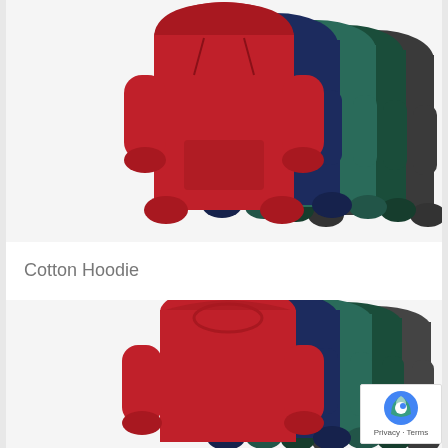[Figure (photo): Multiple sweatshirt/hoodie products fanned out showing colors: red, navy, teal/green, dark grey/black. Top card shows hoodies with hoods, bottom card shows crew-neck sweatshirts.]
Cotton Hoodie
Add to Quote
[Figure (photo): Multiple crew-neck sweatshirts fanned out showing colors: red, black/navy, teal/green, dark grey/charcoal.]